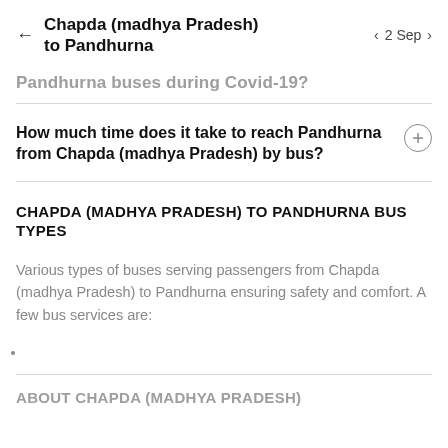Chapda (madhya Pradesh) to Pandhurna | 2 Sep
Pandhurna buses during Covid-19?
How much time does it take to reach Pandhurna from Chapda (madhya Pradesh) by bus?
CHAPDA (MADHYA PRADESH) TO PANDHURNA BUS TYPES
Various types of buses serving passengers from Chapda (madhya Pradesh) to Pandhurna ensuring safety and comfort. A few bus services are:
ABOUT CHAPDA (MADHYA PRADESH)